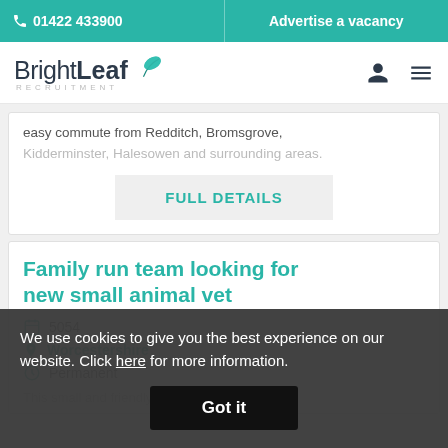📞 01422 433900 | Advertise a vacancy
[Figure (logo): BrightLeaf Recruitment logo with teal leaf icon]
easy commute from Redditch, Bromsgrove, Kidderminster, Halesowen and surrounding areas.
FULL DETAILS
Family run team looking for new small animal vet
5054
Worcestershire
Permanent
This small and family run practice is...
We use cookies to give you the best experience on our website. Click here for more information.
Got it